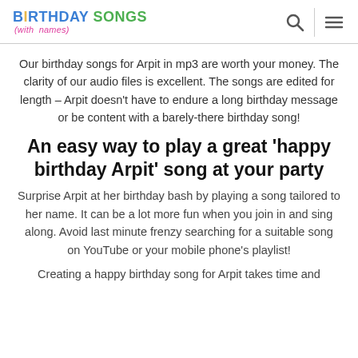BIRTHDAY SONGS (with names)
Our birthday songs for Arpit in mp3 are worth your money. The clarity of our audio files is excellent. The songs are edited for length – Arpit doesn't have to endure a long birthday message or be content with a barely-there birthday song!
An easy way to play a great 'happy birthday Arpit' song at your party
Surprise Arpit at her birthday bash by playing a song tailored to her name. It can be a lot more fun when you join in and sing along. Avoid last minute frenzy searching for a suitable song on YouTube or your mobile phone's playlist!
Creating a happy birthday song for Arpit takes time and